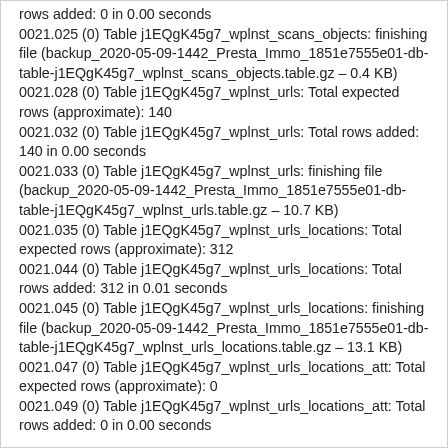rows added: 0 in 0.00 seconds
0021.025 (0) Table j1EQgK45g7_wplnst_scans_objects: finishing file (backup_2020-05-09-1442_Presta_Immo_1851e7555e01-db-table-j1EQgK45g7_wplnst_scans_objects.table.gz – 0.4 KB)
0021.028 (0) Table j1EQgK45g7_wplnst_urls: Total expected rows (approximate): 140
0021.032 (0) Table j1EQgK45g7_wplnst_urls: Total rows added: 140 in 0.00 seconds
0021.033 (0) Table j1EQgK45g7_wplnst_urls: finishing file (backup_2020-05-09-1442_Presta_Immo_1851e7555e01-db-table-j1EQgK45g7_wplnst_urls.table.gz – 10.7 KB)
0021.035 (0) Table j1EQgK45g7_wplnst_urls_locations: Total expected rows (approximate): 312
0021.044 (0) Table j1EQgK45g7_wplnst_urls_locations: Total rows added: 312 in 0.01 seconds
0021.045 (0) Table j1EQgK45g7_wplnst_urls_locations: finishing file (backup_2020-05-09-1442_Presta_Immo_1851e7555e01-db-table-j1EQgK45g7_wplnst_urls_locations.table.gz – 13.1 KB)
0021.047 (0) Table j1EQgK45g7_wplnst_urls_locations_att: Total expected rows (approximate): 0
0021.049 (0) Table j1EQgK45g7_wplnst_urls_locations_att: Total rows added: 0 in 0.00 seconds